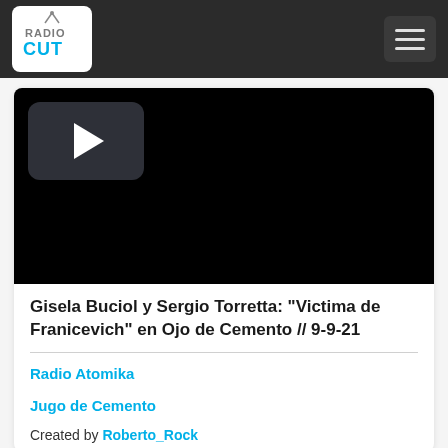RadioCut — navigation bar with logo and hamburger menu
[Figure (screenshot): Video player area with black background and a play button (dark rounded rectangle with white triangle) in the top-left corner]
Gisela Buciol y Sergio Torretta: "Victima de Franicevich" en Ojo de Cemento // 9-9-21
Radio Atomika
Jugo de Cemento
Created by Roberto_Rock